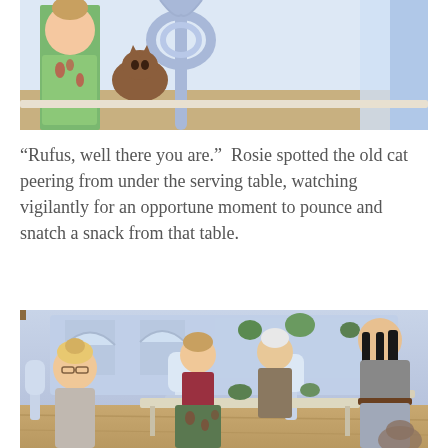[Figure (screenshot): A screenshot from The Sims 4 video game showing characters near a serving table, one appearing to be a cat or animal peeking from underneath the table area with decorative chair visible.]
“Rufus, well there you are.”  Rosie spotted the old cat peering from under the serving table, watching vigilantly for an opportune moment to pounce and snatch a snack from that table.
[Figure (screenshot): A screenshot from The Sims 4 video game showing multiple characters in a blue-toned dining room setting with arched windows, potted plants, white chairs and a dining table. Several Sims characters are standing and interacting.]